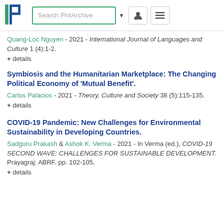[Figure (logo): PhilArchive logo with blue P and green bar]
Quang-Loc Nguyen - 2021 - International Journal of Languages and Culture 1 (4):1-2.
+ details
Symbiosis and the Humanitarian Marketplace: The Changing Political Economy of 'Mutual Benefit'.
Carlos Palacios - 2021 - Theory, Culture and Society 38 (5):115-135.
+ details
COVID-19 Pandemic: New Challenges for Environmental Sustainability in Developing Countries.
Sadguru Prakash & Ashok K. Verma - 2021 - In Verma (ed.), COVID-19 SECOND WAVE: CHALLENGES FOR SUSTAINABLE DEVELOPMENT. Prayagraj: ABRF. pp. 102-105.
+ details